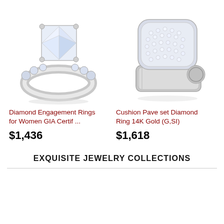[Figure (photo): Diamond engagement ring for women with princess cut center stone and pave band, white gold]
[Figure (photo): Cushion pave set diamond ring in 14K white gold (G,SI), men's signet style with rope texture]
Diamond Engagement Rings for Women GIA Certif ...
$1,436
Cushion Pave set Diamond Ring 14K Gold (G,SI)
$1,618
EXQUISITE JEWELRY COLLECTIONS